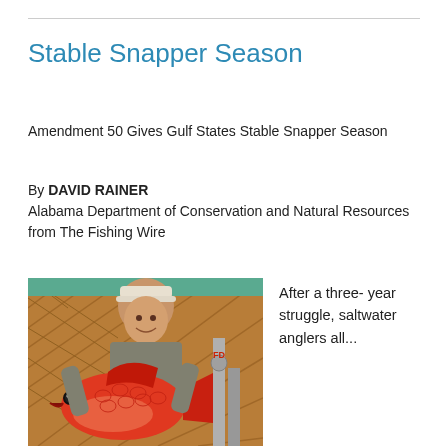Stable Snapper Season
Amendment 50 Gives Gulf States Stable Snapper Season
By DAVID RAINER
Alabama Department of Conservation and Natural Resources
from The Fishing Wire
[Figure (photo): Person holding a large red snapper fish, smiling, wearing a white cap, standing in front of a wooden wall with pipes visible]
After a three-year struggle, saltwater anglers all...